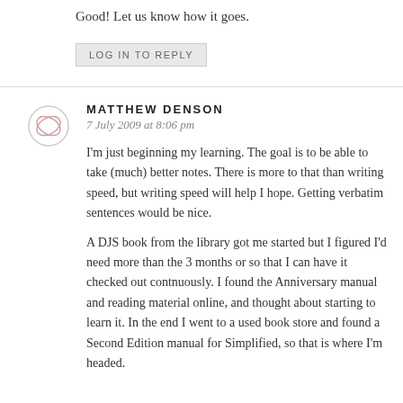Good! Let us know how it goes.
LOG IN TO REPLY
MATTHEW DENSON
7 July 2009 at 8:06 pm
I'm just beginning my learning. The goal is to be able to take (much) better notes. There is more to that than writing speed, but writing speed will help I hope. Getting verbatim sentences would be nice.
A DJS book from the library got me started but I figured I'd need more than the 3 months or so that I can have it checked out contnuously. I found the Anniversary manual and reading material online, and thought about starting to learn it. In the end I went to a used book store and found a Second Edition manual for Simplified, so that is where I'm headed.